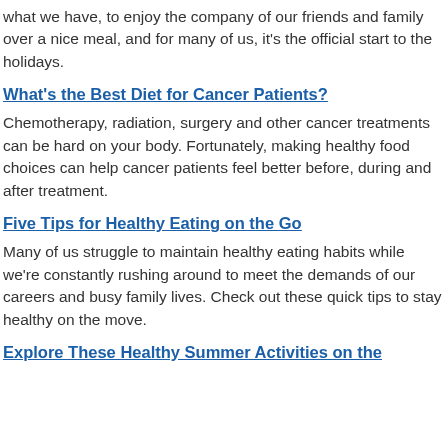what we have, to enjoy the company of our friends and family over a nice meal, and for many of us, it's the official start to the holidays.
What's the Best Diet for Cancer Patients?
Chemotherapy, radiation, surgery and other cancer treatments can be hard on your body. Fortunately, making healthy food choices can help cancer patients feel better before, during and after treatment.
Five Tips for Healthy Eating on the Go
Many of us struggle to maintain healthy eating habits while we're constantly rushing around to meet the demands of our careers and busy family lives. Check out these quick tips to stay healthy on the move.
Explore These Healthy Summer Activities on the